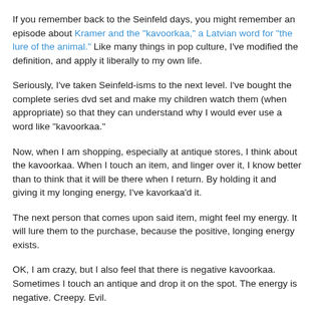If you remember back to the Seinfeld days, you might remember an episode about Kramer and the "kavoorkaa," a Latvian word for "the lure of the animal." Like many things in pop culture, I've modified the definition, and apply it liberally to my own life.
Seriously, I've taken Seinfeld-isms to the next level. I've bought the complete series dvd set and make my children watch them (when appropriate) so that they can understand why I would ever use a word like "kavoorkaa."
Now, when I am shopping, especially at antique stores, I think about the kavoorkaa. When I touch an item, and linger over it, I know better than to think that it will be there when I return. By holding it and giving it my longing energy, I've kavorkaa'd it.
The next person that comes upon said item, might feel my energy. It will lure them to the purchase, because the positive, longing energy exists.
OK, I am crazy, but I also feel that there is negative kavoorkaa. Sometimes I touch an antique and drop it on the spot. The energy is negative. Creepy. Evil.